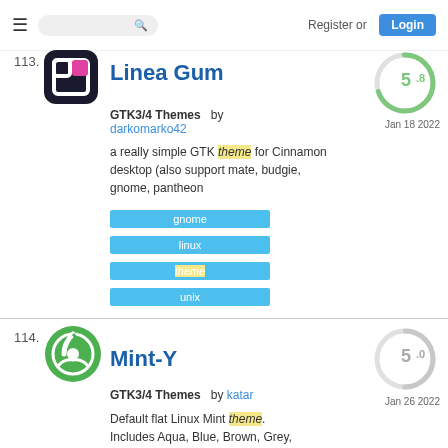Register or Login
113.
Linea Gum
[Figure (logo): Linea Gum app icon — dark navy square with rounded corners, white bracket/frame icon with pink accent]
[Figure (donut-chart): Score circle showing 5.8 rating in green]
Jan 18 2022
GTK3/4 Themes  by darkomarko42
a really simple GTK theme for Cinnamon desktop (also support mate, budgie, gnome, pantheon
gnome
linux
theme
unix
114.
Mint-Y
[Figure (logo): Linux Mint logo — green circle with white mint leaf emblem]
[Figure (donut-chart): Score circle showing 5.0 rating in light grey]
Jan 26 2022
GTK3/4 Themes  by katar
Default flat Linux Mint theme. Includes Aqua, Blue, Brown, Grey, Orange, Pink, Purple, Red, Sand